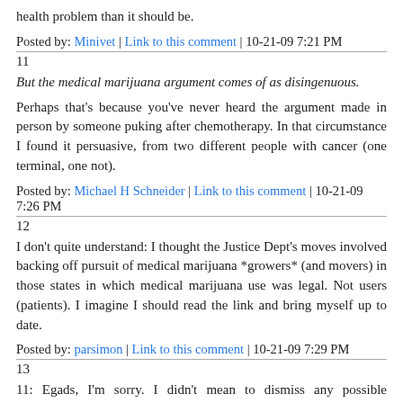health problem than it should be.
Posted by: Minivet | Link to this comment | 10-21-09 7:21 PM
11
But the medical marijuana argument comes of as disingenuous.
Perhaps that's because you've never heard the argument made in person by someone puking after chemotherapy. In that circumstance I found it persuasive, from two different people with cancer (one terminal, one not).
Posted by: Michael H Schneider | Link to this comment | 10-21-09 7:26 PM
12
I don't quite understand: I thought the Justice Dept's moves involved backing off pursuit of medical marijuana *growers* (and movers) in those states in which medical marijuana use was legal. Not users (patients). I imagine I should read the link and bring myself up to date.
Posted by: parsimon | Link to this comment | 10-21-09 7:29 PM
13
11: Egads, I'm sorry. I didn't mean to dismiss any possible ameliorative effect of cannabis for people, and I take your point with the humility of someone who hasn't had to go through that sort of thing.